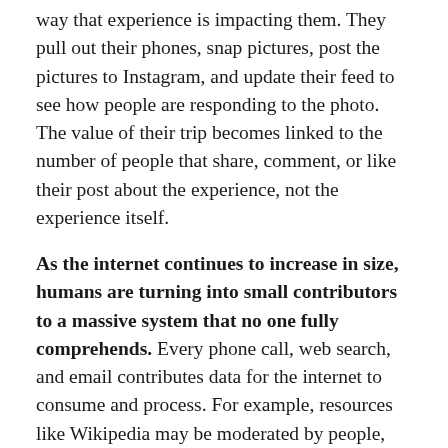way that experience is impacting them. They pull out their phones, snap pictures, post the pictures to Instagram, and update their feed to see how people are responding to the photo. The value of their trip becomes linked to the number of people that share, comment, or like their post about the experience, not the experience itself.
As the internet continues to increase in size, humans are turning into small contributors to a massive system that no one fully comprehends. Every phone call, web search, and email contributes data for the internet to consume and process. For example, resources like Wikipedia may be moderated by people, but its wealth of information comes through small, individual contributions.
This constant flow of information has also led to a global economy no one completely understands and a political future no one can predict. However, according to Dataism, that's completely fine. As long as people continue to contribute data to an